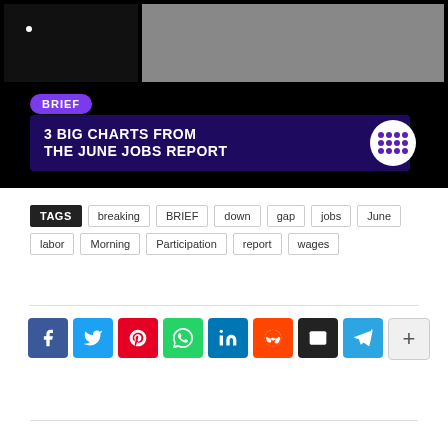[Figure (screenshot): Video thumbnail showing two panels — a dark left panel with a white dot and a gray right panel — with a purple BRIEF badge and a dark navy title banner reading '3 BIG CHARTS FROM THE JUNE JOBS REPORT' with a white circular logo with purple dots on the right.]
TAGS  breaking  BRIEF  down  gap  jobs  June  labor  Morning  Participation  report  wages
[Figure (infographic): Row of social sharing buttons: Facebook (blue), Twitter (light blue), Pinterest (red), WhatsApp (green), LinkedIn (dark blue), Reddit (orange), Email (black), Telegram (blue), More/Plus (light gray)]